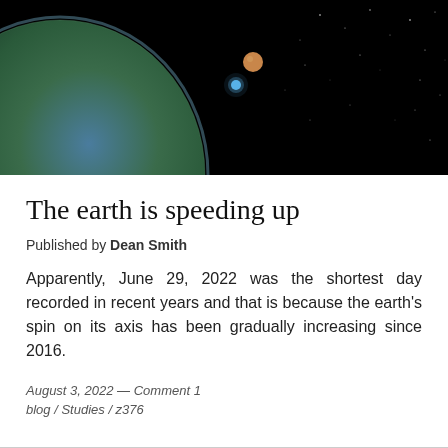[Figure (photo): Space photograph showing Earth from orbit against a starry black background, with a crescent view of Earth's surface and two luminous objects (likely the Moon and a star or planet) visible.]
The earth is speeding up
Published by Dean Smith
Apparently, June 29, 2022 was the shortest day recorded in recent years and that is because the earth's spin on its axis has been gradually increasing since 2016.
August 3, 2022 — Comment 1
blog / Studies / z376